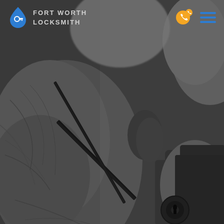[Figure (photo): Close-up black and white photo of a hand holding lockpicking tools (tension wrench and pick) being inserted into a door lock cylinder]
FORT WORTH LOCKSMITH
[Figure (logo): Blue water-drop shaped logo with a key icon inside, representing Fort Worth Locksmith brand]
[Figure (other): Yellow phone/call icon in top right navigation]
[Figure (other): Blue hamburger menu icon (three horizontal lines) in top right navigation]